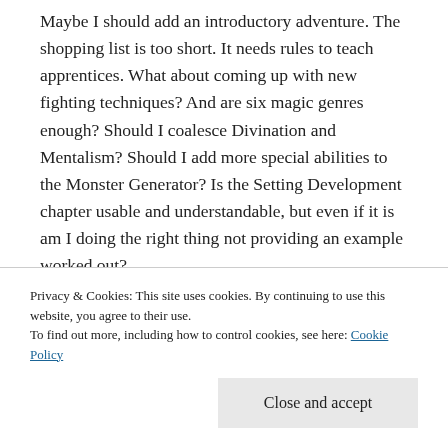Maybe I should add an introductory adventure. The shopping list is too short. It needs rules to teach apprentices. What about coming up with new fighting techniques? And are six magic genres enough? Should I coalesce Divination and Mentalism? Should I add more special abilities to the Monster Generator? Is the Setting Development chapter usable and understandable, but even if it is am I doing the right thing not providing an example worked out?
This got really uncomfortable, to the point where I
Privacy & Cookies: This site uses cookies. By continuing to use this website, you agree to their use. To find out more, including how to control cookies, see here: Cookie Policy